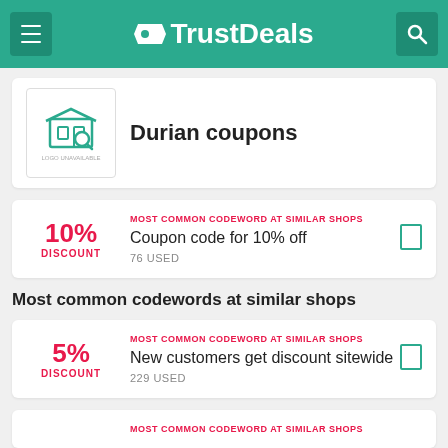TrustDeals
Durian coupons
MOST COMMON CODEWORD AT SIMILAR SHOPS
Coupon code for 10% off
76 USED
Most common codewords at similar shops
MOST COMMON CODEWORD AT SIMILAR SHOPS
New customers get discount sitewide
229 USED
MOST COMMON CODEWORD AT SIMILAR SHOPS